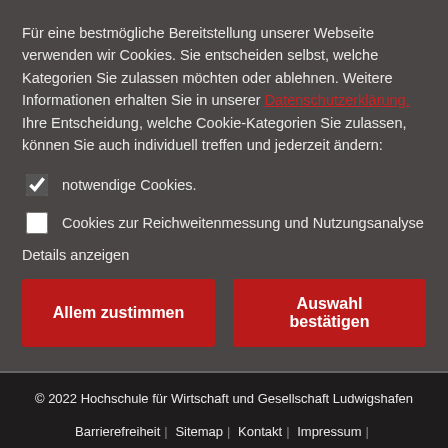Für eine bestmögliche Bereitstellung unserer Webseite verwenden wir Cookies. Sie entscheiden selbst, welche Kategorien Sie zulassen möchten oder ablehnen. Weitere Informationen erhalten Sie in unserer Datenschutzerklärung. Ihre Entscheidung, welche Cookie-Kategorien Sie zulassen, können Sie auch individuell treffen und jederzeit ändern:
notwendige Cookies.
Cookies zur Reichweitenmessung und Nutzungsanalyse
Details anzeigen
Allem zustimmen
Auswahl bestätigen
© 2022 Hochschule für Wirtschaft und Gesellschaft Ludwigshafen
Barrierefreiheit | Sitemap | Kontakt | Impressum | Datenschutzerklärung | Bildrechte